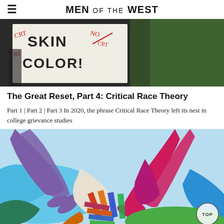MEN OF THE WEST
[Figure (photo): Protest sign reading 'SKIN COLOR!' with CRT written and crossed out in red, held up outdoors with blurred green background.]
The Great Reset, Part 4: Critical Race Theory
Part 1 | Part 2 | Part 3 In 2020, the phrase Critical Race Theory left its nest in college grievance studies
[Figure (illustration): Colorful graphic illustration of multiple hands of different colors (purple, red, magenta, blue, teal, green, orange) interlocked or overlapping against a light blue background, representing diversity and unity.]